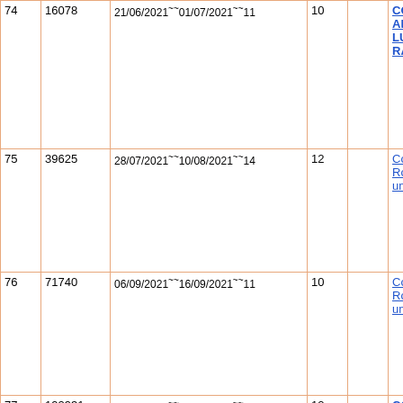| # | ID | Date Range | Col4 | Col5 | Description |
| --- | --- | --- | --- | --- | --- |
| 74 | 16078 | 21/06/2021~~01/07/2021~~11 | 10 |  | CONSTRUCTION OF RURAL APPROACH ROAD NA LUMJING TEP SHA WAH SNI RAI |
| 75 | 39625 | 28/07/2021~~10/08/2021~~14 | 12 |  | Construction of Rural App Road na Lad wahsiej Sha Wah umkhlaw Kdoh |
| 76 | 71740 | 06/09/2021~~16/09/2021~~11 | 10 |  | Construction of Rural App Road na Lad wahsiej Sha Wah umkhlaw Kdoh |
| 77 | 192931 | 20/01/2022~~02/02/2022~~14 | 12 |  | CONSTRUCTION OF VILLAGE ORGANISATION OFFICE BUILDING CUM HALL AT KDOHHATI |
| 78 | 253267 | 21/03/2022~~31/03/2022~~11 | 10 |  | CONSTRUCTION OF WATER CONSERVATION AT KHLIEH WAH UMPDENG SHONG KDOH |
| 79 | 23547 | 29/06/2022~~12/07/2022~~14 | 12 |  | CONSTRUCTION OF WATER CONSERVATION |